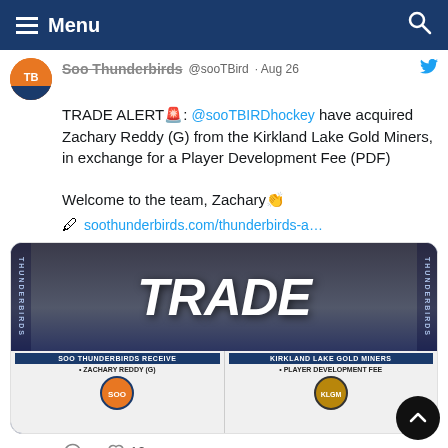Menu
Soo Thunderbirds @sooTBird · Aug 26
TRADE ALERT🚨: @sooTBIRDhockey have acquired Zachary Reddy (G) from the Kirkland Lake Gold Miners, in exchange for a Player Development Fee (PDF)

Welcome to the team, Zachary👏

🖊 soothunderbirds.com/thunderbirds-a…
[Figure (photo): Trade announcement graphic showing the word TRADE in bold italic white text over a dark background, with a trade details table below showing SOO THUNDERBIRDS RECEIVE: ZACHARY REDDY (G) and KIRKLAND LAKE GOLD MINERS: PLAYER DEVELOPMENT FEE, with team logos]
10